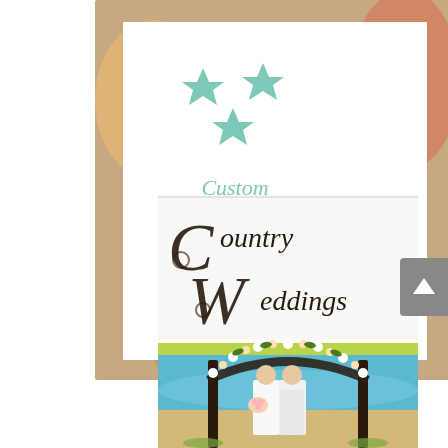[Figure (illustration): A greeting card product image with a tan/bronze border, white interior, three teal/mint colored stars arranged in a triangle pattern, and the word 'Custom' in teal script below the stars.]
[Figure (photo): Country Weddings magazine or product cover. Top section shows elegant script text 'Country Weddings' with decorative C and W letters in dark brown on white background, with a lime green horizontal stripe. Bottom section shows a photo of a bride and groom standing under a floral arch on a beach with turquoise ocean water behind them.]